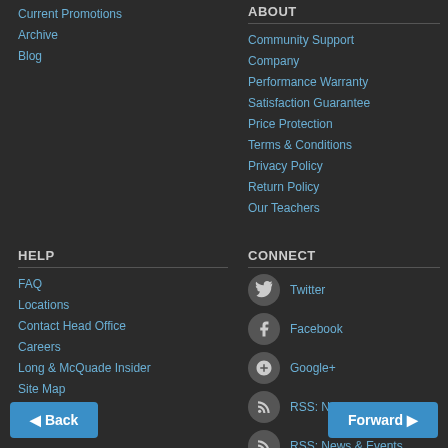Current Promotions
Archive
Blog
ABOUT
Community Support
Company
Performance Warranty
Satisfaction Guarantee
Price Protection
Terms & Conditions
Privacy Policy
Return Policy
Our Teachers
HELP
FAQ
Locations
Contact Head Office
Careers
Long & McQuade Insider
Site Map
Shop By Brand
CONNECT
Twitter
Facebook
Google+
RSS: New Products
RSS: News & Events